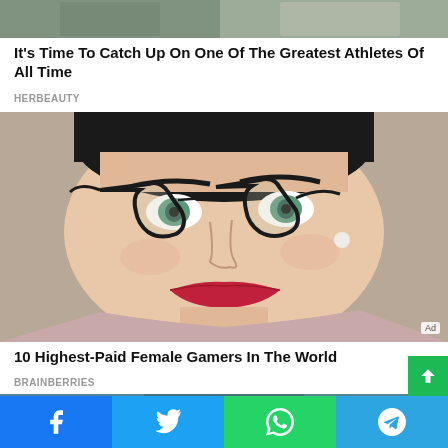[Figure (photo): Top partial image of athletes or people, cropped at top of page]
It's Time To Catch Up On One Of The Greatest Athletes Of All Time
HERBEAUTY
[Figure (photo): Close-up portrait of a woman with short dark hair, cat-eye glasses, red lipstick, pearl necklace, and a pink top. Ad badge in bottom right corner.]
10 Highest-Paid Female Gamers In The World
BRAINBERRIES
[Figure (photo): Partial bottom image, person visible from top, teal/green background]